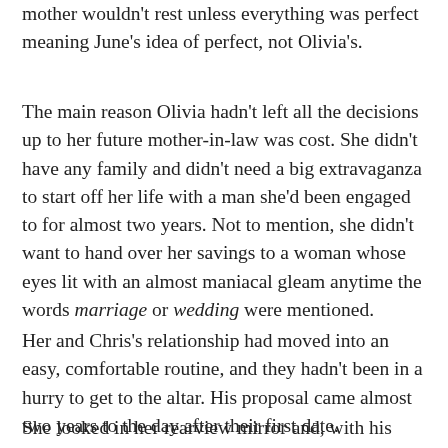mother wouldn't rest unless everything was perfect meaning June's idea of perfect, not Olivia's.
The main reason Olivia hadn't left all the decisions up to her future mother-in-law was cost. She didn't have any family and didn't need a big extravaganza to start off her life with a man she'd been engaged to for almost two years. Not to mention, she didn't want to hand over her savings to a woman whose eyes lit with an almost maniacal gleam anytime the words marriage or wedding were mentioned.
Her and Chris's relationship had moved into an easy, comfortable routine, and they hadn't been in a hurry to get to the altar. His proposal came almost two years to the day after their first date.
She looked in her rearview mirror and, with his doggy